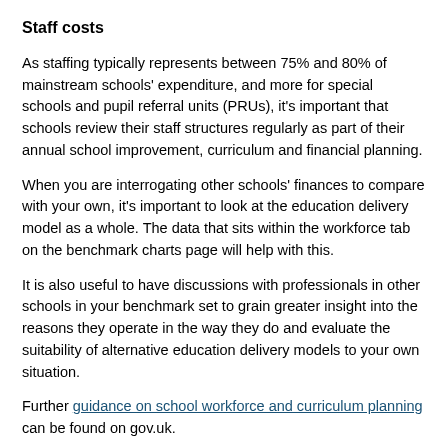Staff costs
As staffing typically represents between 75% and 80% of mainstream schools' expenditure, and more for special schools and pupil referral units (PRUs), it's important that schools review their staff structures regularly as part of their annual school improvement, curriculum and financial planning.
When you are interrogating other schools' finances to compare with your own, it's important to look at the education delivery model as a whole. The data that sits within the workforce tab on the benchmark charts page will help with this.
It is also useful to have discussions with professionals in other schools in your benchmark set to grain greater insight into the reasons they operate in the way they do and evaluate the suitability of alternative education delivery models to your own situation.
Further guidance on school workforce and curriculum planning can be found on gov.uk.